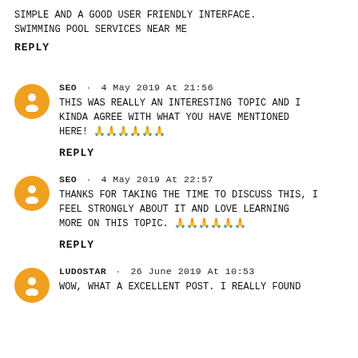SIMPLE AND A GOOD USER FRIENDLY INTERFACE. SWIMMING POOL SERVICES NEAR ME
REPLY
SEO · 4 May 2019 at 21:56
This was really an interesting topic and I kinda agree with what you have mentioned here! 🙏🙏🙏🙏🙏🙏
REPLY
SEO · 4 May 2019 at 22:57
Thanks for taking the time to discuss this, I feel strongly about it and love learning more on this topic. 🙏🙏🙏🙏🙏🙏
REPLY
LUDOSTAR · 26 June 2019 at 10:53
Wow, What a Excellent post. I really found